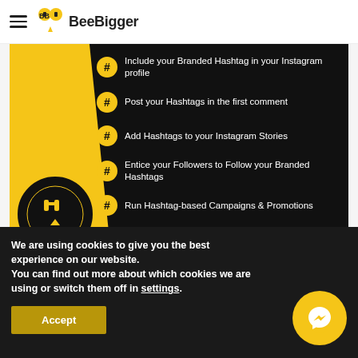BeeBigger
[Figure (infographic): Black infographic card with yellow left accent and BeeBigger logo. Lists 6 hashtag tips for Instagram with gold hashtag icons. Footer: 'Like | Share | Follow'.]
Include your Branded Hashtag in your Instagram profile
Post your Hashtags in the first comment
Add Hashtags to your Instagram Stories
Entice your Followers to Follow your Branded Hashtags
Run Hashtag-based Campaigns & Promotions
Avoid using banned Hashtags on Instagram
Like | Share | Follow
[Figure (screenshot): Partially visible second BeeBigger card with yellow accent and gold italic logo text.]
We are using cookies to give you the best experience on our website.
You can find out more about which cookies we are using or switch them off in settings.